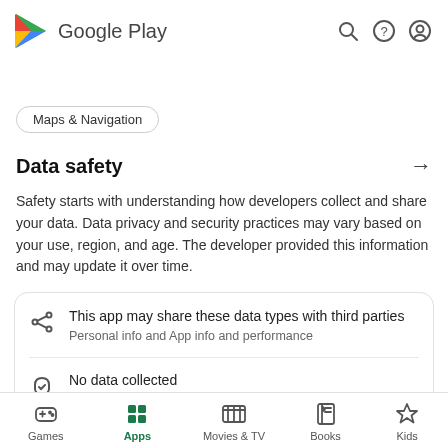[Figure (logo): Google Play logo with colorful triangle and 'Google Play' text]
Maps & Navigation
Data safety →
Safety starts with understanding how developers collect and share your data. Data privacy and security practices may vary based on your use, region, and age. The developer provided this information and may update it over time.
This app may share these data types with third parties
Personal info and App info and performance
No data collected
Learn more about how developers declare collection
Games  Apps  Movies & TV  Books  Kids